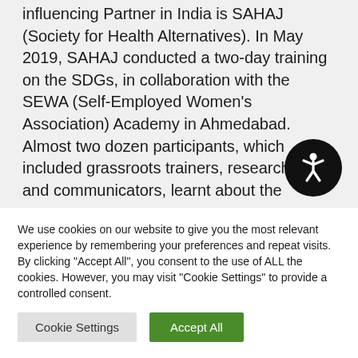influencing Partner in India is SAHAJ (Society for Health Alternatives). In May 2019, SAHAJ conducted a two-day training on the SDGs, in collaboration with the SEWA (Self-Employed Women's Association) Academy in Ahmedabad. Almost two dozen participants, which included grassroots trainers, researchers and communicators, learnt about the
[Figure (illustration): Accessibility icon — white stick figure in a circle pose on black circular background]
We use cookies on our website to give you the most relevant experience by remembering your preferences and repeat visits. By clicking "Accept All", you consent to the use of ALL the cookies. However, you may visit "Cookie Settings" to provide a controlled consent.